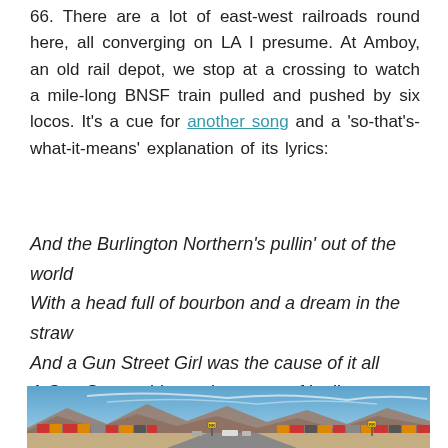66. There are a lot of east-west railroads round here, all converging on LA I presume. At Amboy, an old rail depot, we stop at a crossing to watch a mile-long BNSF train pulled and pushed by six locos. It’s a cue for another song and a ‘so-that’s-what-it-means’ explanation of its lyrics:
And the Burlington Northern’s pullin’ out of the world
With a head full of bourbon and a dream in the straw
And a Gun Street Girl was the cause of it all
A Gun Street girl was the cause of it all
[Figure (photo): A desert highway scene showing a long freight train (BNSF) crossing the road at a railroad crossing, with mountains in the background under a blue sky with wispy clouds. Railroad crossing signs are visible. Cars waiting at the crossing can be seen.]